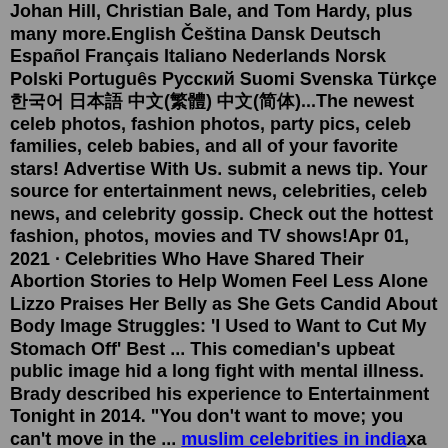Johan Hill, Christian Bale, and Tom Hardy, plus many more.English Čeština Dansk Deutsch Español Français Italiano Nederlands Norsk Polski Português Русский Suomi Svenska Türkçe 한국어 日本語 中文(繁體) 中文(简体)...The newest celeb photos, fashion photos, party pics, celeb families, celeb babies, and all of your favorite stars! Advertise With Us. submit a news tip. Your source for entertainment news, celebrities, celeb news, and celebrity gossip. Check out the hottest fashion, photos, movies and TV shows!Apr 01, 2021 · Celebrities Who Have Shared Their Abortion Stories to Help Women Feel Less Alone Lizzo Praises Her Belly as She Gets Candid About Body Image Struggles: 'I Used to Want to Cut My Stomach Off' Best ... This comedian's upbeat public image hid a long fight with mental illness. Brady described his experience to Entertainment Tonight in 2014. "You don't want to move; you can't move in the ... muslim celebrities in indiaxa